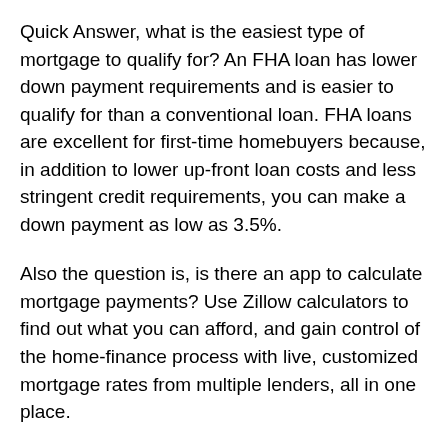Quick Answer, what is the easiest type of mortgage to qualify for? An FHA loan has lower down payment requirements and is easier to qualify for than a conventional loan. FHA loans are excellent for first-time homebuyers because, in addition to lower up-front loan costs and less stringent credit requirements, you can make a down payment as low as 3.5%.
Also the question is, is there an app to calculate mortgage payments? Use Zillow calculators to find out what you can afford, and gain control of the home-finance process with live, customized mortgage rates from multiple lenders, all in one place.
Correspondingly, what is the best mortgage calculator app for iPhone? Mortgage Pal – Loan Calculator Mortgage Pal app for iPhone. With this loan repayment calculator app, you can do all your loan and mortgage calculations, including PMI